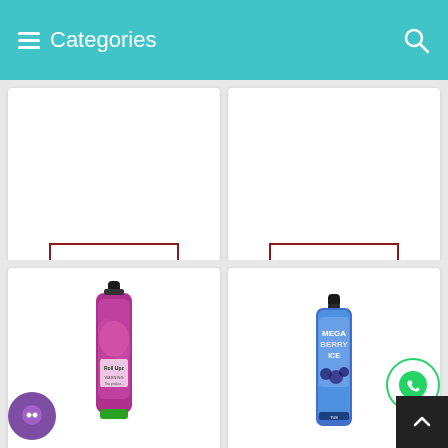Categories
85 SAR
85 SAR
[Figure (photo): Roll Upz Watermelon 60 Ml e-liquid bottle with pink/purple floral label and green cap]
[Figure (photo): Mega Berry Ice 60 Ml e-liquid bottle with blue label showing berries]
Roll Upz Watermelon 60 Ml
Mega Berry Ice 60 Ml